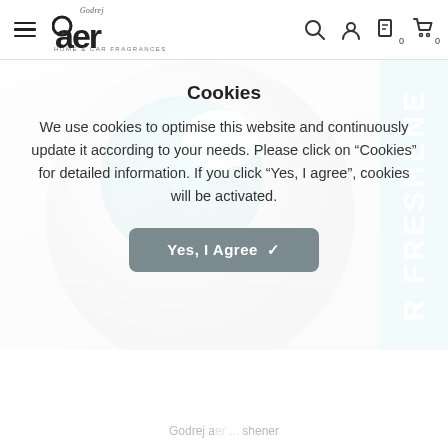Godrej aer — HOME & CAR FRAGRANCES — navigation bar with hamburger menu, logo, search, account, wishlist (0), cart (0)
[Figure (photo): Godrej aer product — a silver spherical air freshener with a teal interior visible through a circular opening, partial view cropped. A teal vertical banner on the right reads 'R FRESHENE' (AIR FRESHENER cut off). A '60 DAYS' badge is visible at the bottom right.]
Cookies
We use cookies to optimise this website and continuously update it according to your needs. Please click on “Cookies” for detailed information. If you click “Yes, I agree”, cookies will be activated.
Yes, I Agree ✓
Godrej aer ... shener